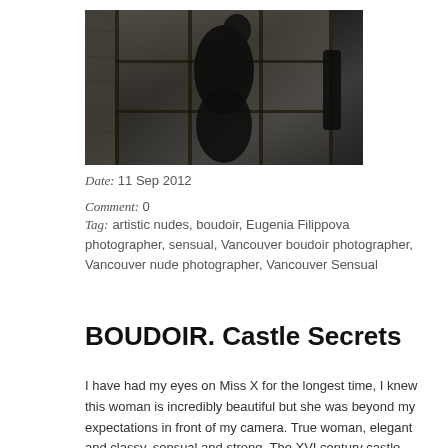[Figure (photo): Dark silhouette of a person standing in front of a multi-pane window with stone wall visible in background. Figure appears backlit.]
Date:  11 Sep 2012
Comment:  0
Tag:  artistic nudes, boudoir, Eugenia Filippova photographer, sensual, Vancouver boudoir photographer, Vancouver nude photographer, Vancouver Sensual
BOUDOIR. Castle Secrets
I have had my eyes on Miss X for the longest time, I knew this woman is incredibly beautiful but she was beyond my expectations in front of my camera. True woman, elegant and classy, sensual and strong. The XVI century castle near Scottish Borders was very suitable for her character; it's stone walls, luxurious interiors and exquisite antiques. To call this session